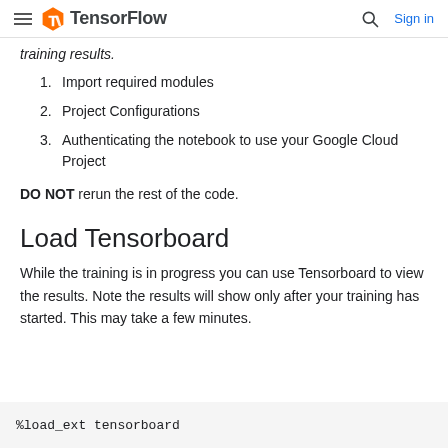TensorFlow  Sign in
training results.
1. Import required modules
2. Project Configurations
3. Authenticating the notebook to use your Google Cloud Project
DO NOT rerun the rest of the code.
Load Tensorboard
While the training is in progress you can use Tensorboard to view the results. Note the results will show only after your training has started. This may take a few minutes.
%load_ext tensorboard